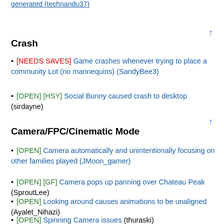generated (technandu37)
Crash
[NEEDS SAVES] Game crashes whenever trying to place a community Lot (no mannequins) (SandyBee3)
[OPEN] [HSY] Social Bunny caused crash to desktop (sirdayne)
Camera/FPC/Cinematic Mode
[OPEN] Camera automatically and unintentionally focusing on other families played (JMoon_gamer)
[OPEN] [GF] Camera pops up panning over Chateau Peak (SproutLee)
[OPEN] Looking around causes animations to be unaligned (Ayalet_Nihazi)
[OPEN] Spinning Camera issues (thuraski)